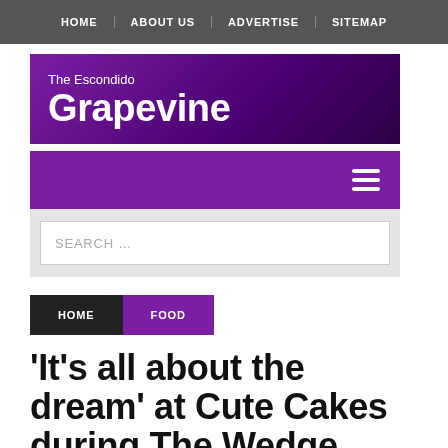HOME  ABOUT US  ADVERTISE  SITEMAP
[Figure (logo): The Escondido Grapevine logo on purple gradient background]
[Figure (other): Purple navigation strip with hamburger menu icon]
[Figure (screenshot): Search bar with placeholder text SEARCH ...]
HOME  FOOD
'It’s all about the dream’ at Cute Cakes during The Wedge, Escondido